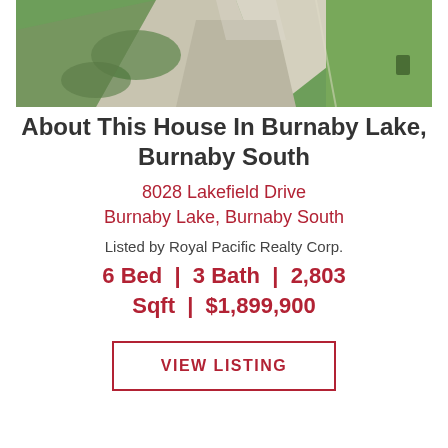[Figure (photo): Aerial view of a residential property driveway and lawn in Burnaby Lake, Burnaby South]
About This House In Burnaby Lake, Burnaby South
8028 Lakefield Drive
Burnaby Lake, Burnaby South
Listed by Royal Pacific Realty Corp.
6 Bed  |  3 Bath  |  2,803 Sqft  |  $1,899,900
VIEW LISTING